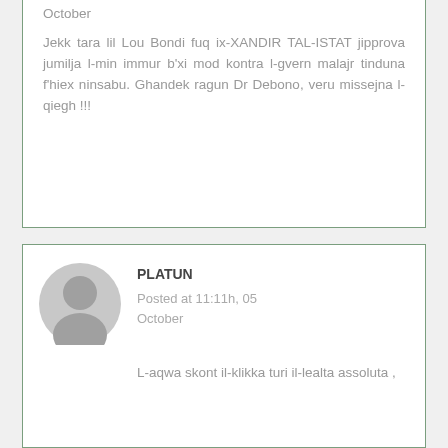October

Jekk tara lil Lou Bondi fuq ix-XANDIR TAL-ISTAT jipprova jumilja l-min immur b'xi mod kontra l-gvern malajr tinduna f'hiex ninsabu. Ghandek ragun Dr Debono, veru missejna l-qiegh !!!
PLATUN
Posted at 11:11h, 05 October
L-aqwa skont il-klikka turi il-lealta assoluta ,